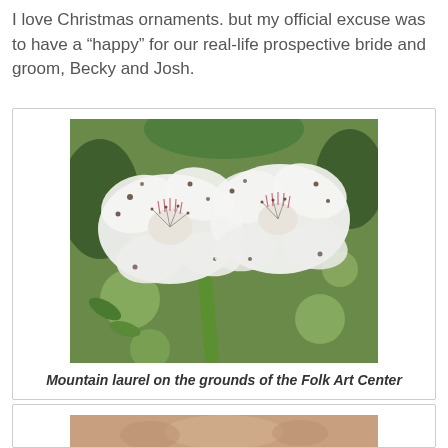I love Christmas ornaments. but my official excuse was to have a “happy” for our real-life prospective bride and groom, Becky and Josh.
[Figure (photo): Close-up photograph of white mountain laurel flowers with pink-red markings on the petals, green stems and foliage visible in background]
Mountain laurel on the grounds of the Folk Art Center
[Figure (photo): Partial view of another photo at the bottom of the page, cut off]